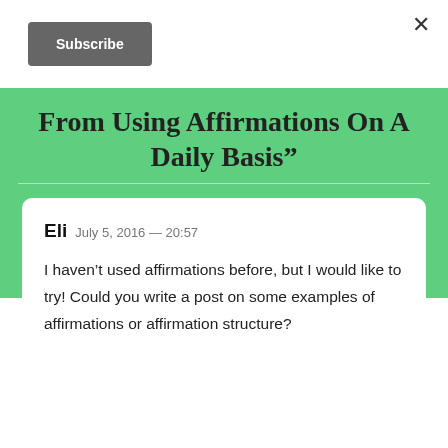×
Subscribe
From Using Affirmations On A Daily Basis”
Eli  July 5, 2016 — 20:57

I haven't used affirmations before, but I would like to try! Could you write a post on some examples of affirmations or affirmation structure?